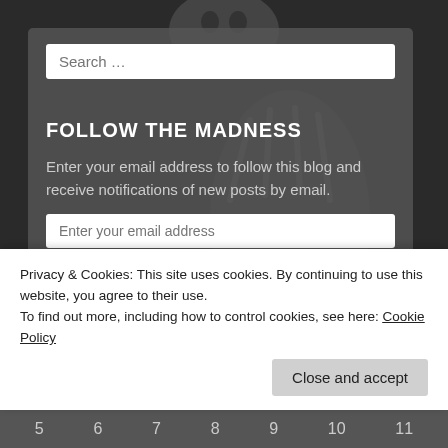[Figure (illustration): Dark background with illustrated figure/character with clawed hand visible]
Search …
FOLLOW THE MADNESS
Enter your email address to follow this blog and receive notifications of new posts by email.
Enter your email address
Follow
Join 1,251 other followers
Privacy & Cookies: This site uses cookies. By continuing to use this website, you agree to their use.
To find out more, including how to control cookies, see here: Cookie Policy
Close and accept
5   6   7   8   9   10   11